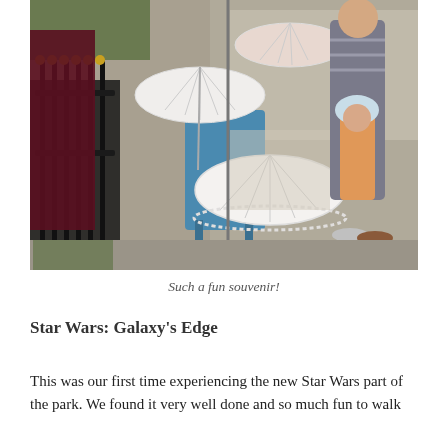[Figure (photo): Outdoor theme park scene showing white lace decorative parasols/umbrellas displayed on a blue stand near a black iron fence. In the background, a man in a striped shirt and a young child wearing a light blue bonnet and mustard skirt are visible, along with colorful park scenery.]
Such a fun souvenir!
Star Wars: Galaxy's Edge
This was our first time experiencing the new Star Wars part of the park. We found it very well done and so much fun to walk